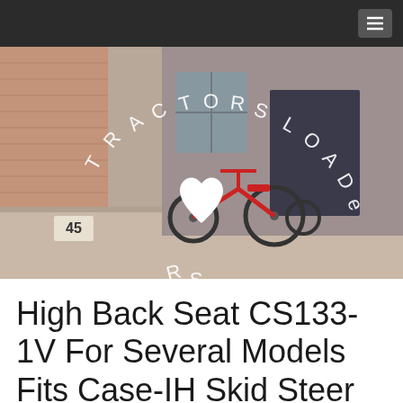[Figure (photo): Hero image showing a red tricycle parked on a sidewalk next to a brick wall. Overlaid text reads 'TRACTORS LOADERS SKID' in circular/arc arrangement with a white heart symbol in the center.]
High Back Seat CS133-1V For Several Models Fits Case-IH Skid Steer Loaders